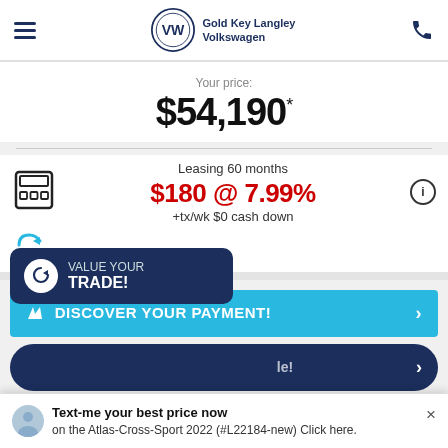Gold Key Langley Volkswagen
Your price:
$54,190*
Leasing 60 months $180 @ 7.99% +tx/wk $0 cash down
DISCOVER YOUR PAYMENT!
VALUE YOUR TRADE!
No Cash Down Payments!
Text-me your best price now on the Atlas-Cross-Sport 2022 (#L22184-new) Click here.